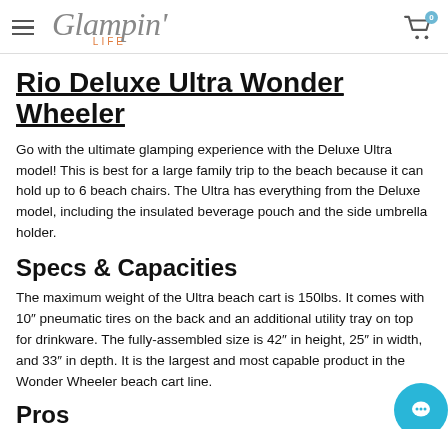Glampin' LIFE
Rio Deluxe Ultra Wonder Wheeler
Go with the ultimate glamping experience with the Deluxe Ultra model! This is best for a large family trip to the beach because it can hold up to 6 beach chairs. The Ultra has everything from the Deluxe model, including the insulated beverage pouch and the side umbrella holder.
Specs & Capacities
The maximum weight of the Ultra beach cart is 150lbs. It comes with 10″ pneumatic tires on the back and an additional utility tray on top for drinkware. The fully-assembled size is 42″ in height, 25″ in width, and 33″ in depth. It is the largest and most capable product in the Wonder Wheeler beach cart line.
Pros